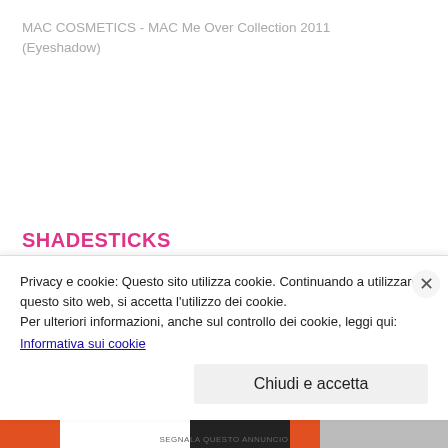MAC COSMETICS - MAC Me Over Collection 2011 (Eyeshadow)
SHADESTICKS
Butternutty (Repromote) (Limited Edition)
Cakechan (Repromote)
Privacy e cookie: Questo sito utilizza cookie. Continuando a utilizzare questo sito web, si accetta l'utilizzo dei cookie. Per ulteriori informazioni, anche sul controllo dei cookie, leggi qui: Informativa sui cookie
Chiudi e accetta